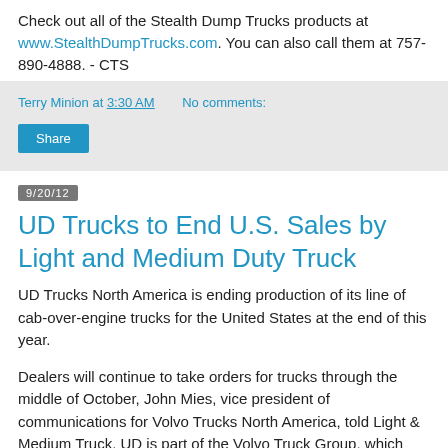Check out all of the Stealth Dump Trucks products at www.StealthDumpTrucks.com. You can also call them at 757-890-4888. - CTS
Terry Minion at 3:30 AM   No comments:
Share
9/20/12
UD Trucks to End U.S. Sales by Light and Medium Duty Truck
UD Trucks North America is ending production of its line of cab-over-engine trucks for the United States at the end of this year.
Dealers will continue to take orders for trucks through the middle of October, John Mies, vice president of communications for Volvo Trucks North America, told Light & Medium Truck. UD is part of the Volvo Truck Group, which also includes Mack Trucks and Renault Trucks among others.